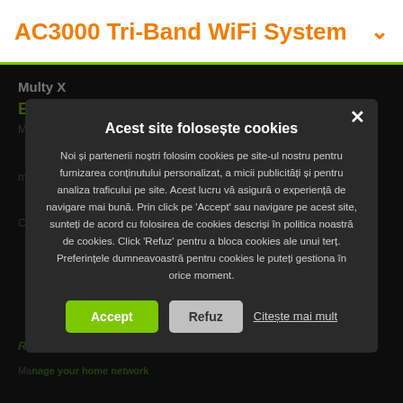AC3000 Tri-Band WiFi System
Multy X
Ease of Use
Acest site folosește cookies
Noi și partenerii noștri folosim cookies pe site-ul nostru pentru furnizarea conținutului personalizat, a micii publicități și pentru analiza traficului pe site. Acest lucru vă asigură o experiență de navigare mai bună. Prin click pe 'Accept' sau navigare pe acest site, sunteți de acord cu folosirea de cookies descriși în politica noastră de cookies. Click 'Refuz' pentru a bloca cookies ale unui terț. Preferințele dumneavoastră pentru cookies le puteți gestiona în orice moment.
Accept
Refuz
Citește mai mult